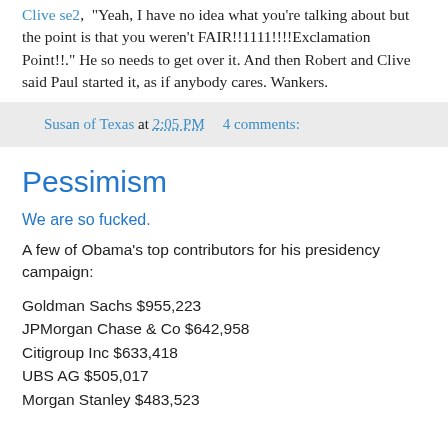Clive se2,  "Yeah, I have no idea what you're talking about but the point is that you weren't FAIR!!1111!!!!Exclamation Point!!." He so needs to get over it. And then Robert and Clive said Paul started it, as if anybody cares. Wankers.
Susan of Texas at 2:05 PM   4 comments:
Pessimism
We are so fucked.
A few of Obama's top contributors for his presidency campaign:
Goldman Sachs $955,223
JPMorgan Chase & Co $642,958
Citigroup Inc $633,418
UBS AG $505,017
Morgan Stanley $483,523